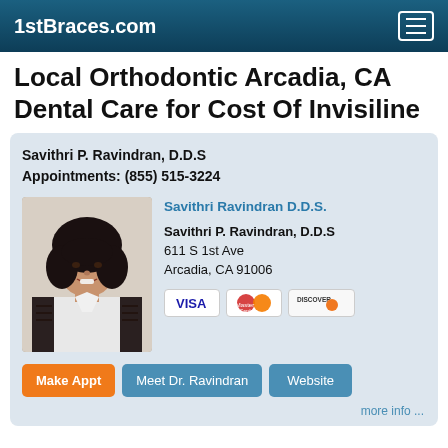1stBraces.com
Local Orthodontic Arcadia, CA Dental Care for Cost Of Invisiline
Savithri P. Ravindran, D.D.S
Appointments: (855) 515-3224
[Figure (photo): Portrait photo of Dr. Savithri Ravindran, a woman with dark hair, smiling, wearing a white jacket with dark pattern.]
Savithri Ravindran D.D.S.
Savithri P. Ravindran, D.D.S
611 S 1st Ave
Arcadia, CA 91006
[Figure (other): Credit card payment icons: VISA, MasterCard, Discover]
Make Appt   Meet Dr. Ravindran   Website
more info ...